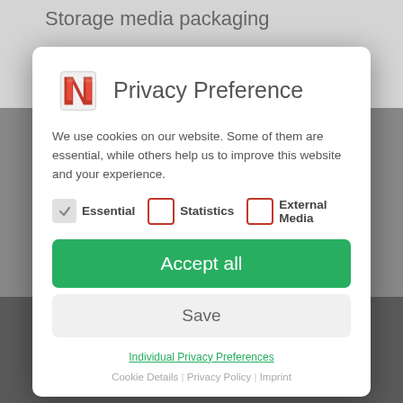Storage media packaging
Universal packaging
Privacy Preference
We use cookies on our website. Some of them are essential, while others help us to improve this website and your experience.
Essential  Statistics  External Media
Accept all
Save
Individual Privacy Preferences
Cookie Details | Privacy Policy | Imprint